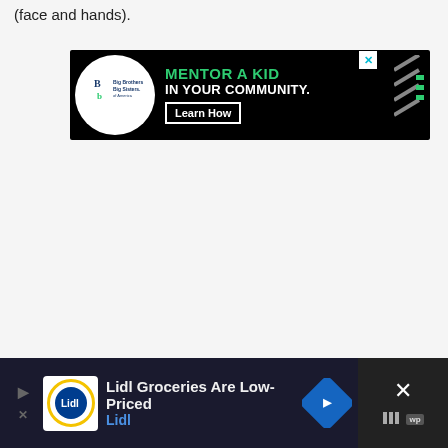(face and hands).
[Figure (screenshot): Big Brothers Big Sisters advertisement banner: 'MENTOR A KID IN YOUR COMMUNITY.' with 'Learn How' button on black background]
[Figure (screenshot): Lidl Groceries advertisement: 'Lidl Groceries Are Low-Priced' with Lidl logo and navigation arrow icon on dark background]